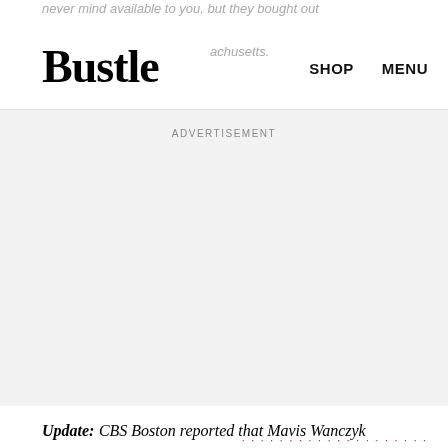never mind available to you, but they bought out that in Massachusetts. Bustle  SHOP  MENU
ADVERTISEMENT
Update: CBS Boston reported that Mavis Wanczyk